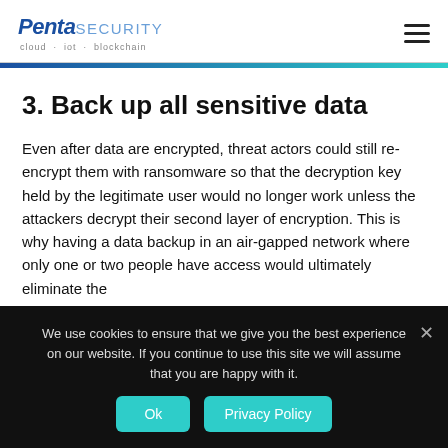Penta SECURITY cloud · iot · blockchain
3. Back up all sensitive data
Even after data are encrypted, threat actors could still re-encrypt them with ransomware so that the decryption key held by the legitimate user would no longer work unless the attackers decrypt their second layer of encryption. This is why having a data backup in an air-gapped network where only one or two people have access would ultimately eliminate the
We use cookies to ensure that we give you the best experience on our website. If you continue to use this site we will assume that you are happy with it.
Ok
Privacy Policy